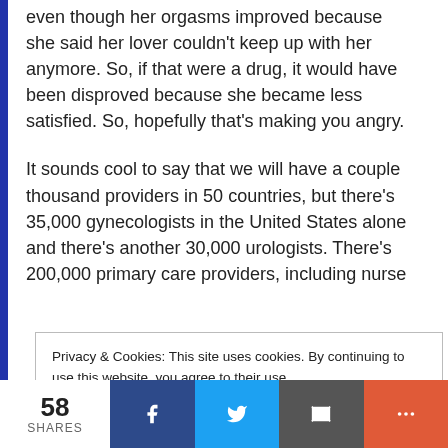even though her orgasms improved because she said her lover couldn't keep up with her anymore. So, if that were a drug, it would have been disproved because she became less satisfied. So, hopefully that's making you angry.
It sounds cool to say that we will have a couple thousand providers in 50 countries, but there's 35,000 gynecologists in the United States alone and there's another 30,000 urologists. There's 200,000 primary care providers, including nurse
Privacy & Cookies: This site uses cookies. By continuing to use this website, you agree to their use.
To find out more, including how to control cookies, see here: Cookie Policy
58 SHARES